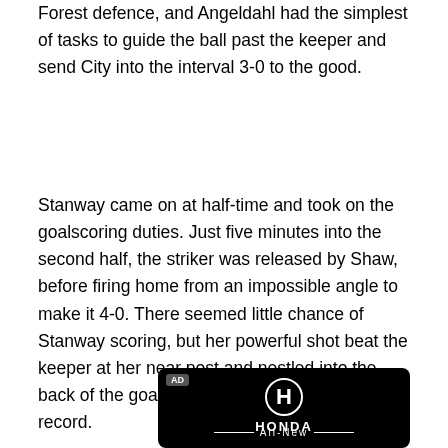Forest defence, and Angeldahl had the simplest of tasks to guide the ball past the keeper and send City into the interval 3-0 to the good.
Stanway came on at half-time and took on the goalscoring duties. Just five minutes into the second half, the striker was released by Shaw, before firing home from an impossible angle to make it 4-0. There seemed little chance of Stanway scoring, but her powerful shot beat the keeper at her near post and nestled into the back of the goal to draw level with Parris' record.
[Figure (logo): Honda advertisement banner with Honda logo (H symbol), HONDA text, and 'All-New' tagline on black background]